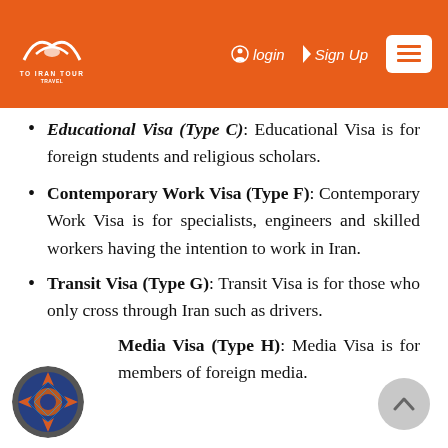To Iran Tour — Login | Sign Up | Menu
Educational Visa (Type C): Educational Visa is for foreign students and religious scholars.
Contemporary Work Visa (Type F): Contemporary Work Visa is for specialists, engineers and skilled workers having the intention to work in Iran.
Transit Visa (Type G): Transit Visa is for those who only cross through Iran such as drivers.
Media Visa (Type H): Media Visa is for members of foreign media.